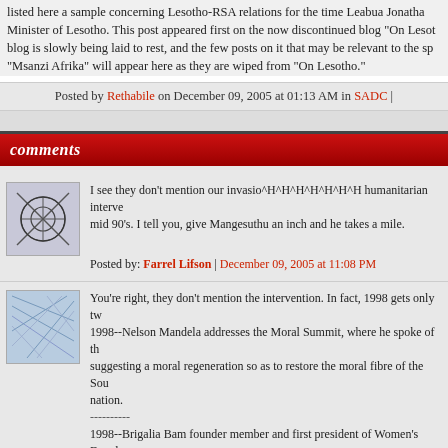listed here a sample concerning Lesotho-RSA relations for the time Leabua Jonathan was Prime Minister of Lesotho. This post appeared first on the now discontinued blog "On Lesotho." That blog is slowly being laid to rest, and the few posts on it that may be relevant to the spirit of "Msanzi Afrika" will appear here as they are wiped from "On Lesotho."
Posted by Rethabile on December 09, 2005 at 01:13 AM in SADC |
comments
I see they don't mention our invasio^H^H^H^H^H^H^H humanitarian intervention in the mid 90's. I tell you, give Mangesuthu an inch and he takes a mile.

Posted by: Farrel Lifson | December 09, 2005 at 11:08 PM
You're right, they don't mention the intervention. In fact, 1998 gets only two mentions: 1998--Nelson Mandela addresses the Moral Summit, where he spoke of the importance of suggesting a moral regeneration so as to restore the moral fibre of the South African nation.
----------
1998--Brigalia Bam founder member and first president of Women's Development Foundation.

Now, why would that be?

As I've said somewhere at some stage before, Basotho are divided over this. Some say it was an invasion, others say it was a requested intervention.

The people I talked to when last I was home, were happy about it. They were the ones who had undergone the most hardship, those who had been at the receiving end of a dictatorship.